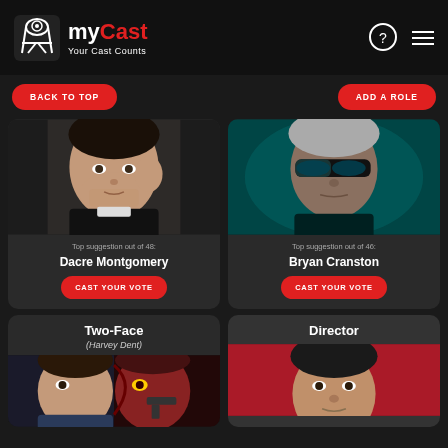myCast – Your Cast Counts
BACK TO TOP
ADD A ROLE
[Figure (photo): Headshot of Dacre Montgomery]
Top suggestion out of 48:
Dacre Montgomery
CAST YOUR VOTE
[Figure (photo): Stylized photo of Bryan Cranston as character with eye patch in teal lighting]
Top suggestion out of 46:
Bryan Cranston
CAST YOUR VOTE
Two-Face
(Harvey Dent)
[Figure (photo): Two-Face Harvey Dent character photo]
Director
[Figure (photo): Director headshot on red background]